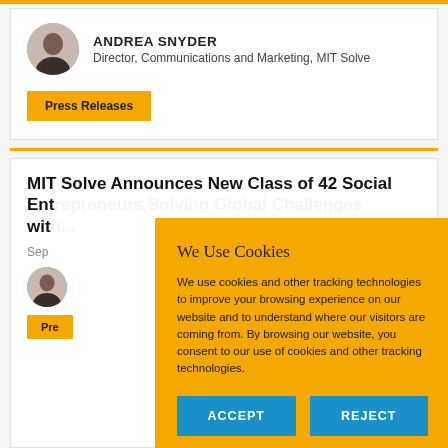[Figure (photo): Circular avatar photo of Andrea Snyder]
ANDREA SNYDER
Director, Communications and Marketing, MIT Solve
Press Releases
MIT Solve Announces New Class of 42 Social Entrepreneurs Solving Global Challenges with...
Sep
[Figure (photo): Circular avatar photo of author]
Pre...
[Figure (screenshot): Cookie consent popup overlay with golden background showing 'We Use Cookies' title, description text, and ACCEPT/REJECT buttons]